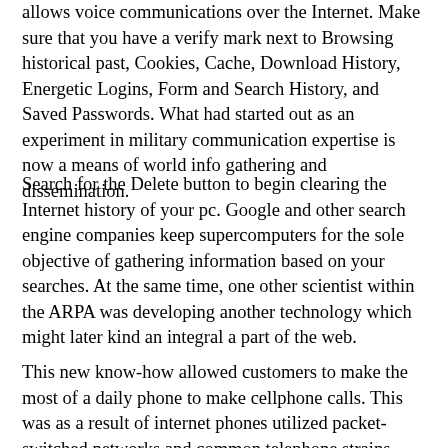allows voice communications over the Internet. Make sure that you have a verify mark next to Browsing historical past, Cookies, Cache, Download History, Energetic Logins, Form and Search History, and Saved Passwords. What had started out as an experiment in military communication expertise is now a means of world info gathering and dissemination.
Search for the Delete button to begin clearing the Internet history of your pc. Google and other search engine companies keep supercomputers for the sole objective of gathering information based on your searches. At the same time, one other scientist within the ARPA was developing another technology which might later kind an integral a part of the web.
This new know-how allowed customers to make the most of a daily phone to make cellphone calls. This was as a result of internet phones utilized packet-switched networks and common telephone strains utilized circuit-switched networks. The historical past of the web entails three main elements –